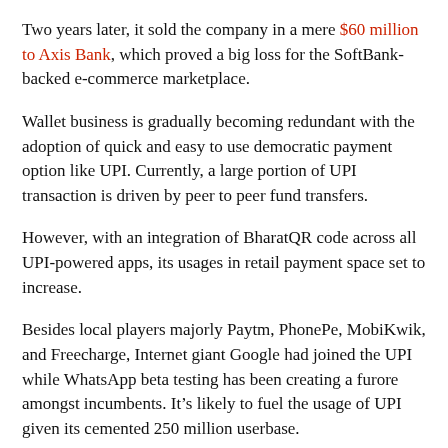Two years later, it sold the company in a mere $60 million to Axis Bank, which proved a big loss for the SoftBank-backed e-commerce marketplace.
Wallet business is gradually becoming redundant with the adoption of quick and easy to use democratic payment option like UPI. Currently, a large portion of UPI transaction is driven by peer to peer fund transfers.
However, with an integration of BharatQR code across all UPI-powered apps, its usages in retail payment space set to increase.
Besides local players majorly Paytm, PhonePe, MobiKwik, and Freecharge, Internet giant Google had joined the UPI while WhatsApp beta testing has been creating a furore amongst incumbents. It’s likely to fuel the usage of UPI given its cemented 250 million userbase.
Certainly, UPI payment corridor has been the latest playground for global as well as local payment platforms.